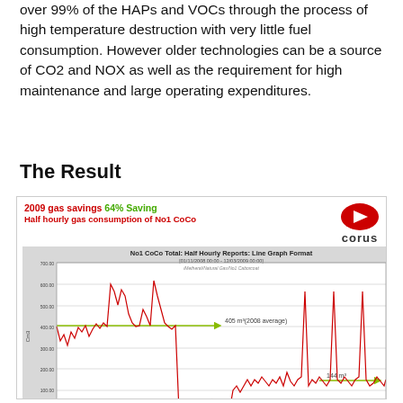over 99% of the HAPs and VOCs through the process of high temperature destruction with very little fuel consumption. However older technologies can be a source of CO2 and NOX as well as the requirement for high maintenance and large operating expenditures.
The Result
[Figure (continuous-plot): Line graph showing half hourly gas consumption of No1 CoCo from 01/11/2008 00:00 to 12/03/2009 00:00. A horizontal green arrow at ~405 m3 marks the 2008 average. A second horizontal green arrow at the right end marks 144 m3. The red line shows high consumption in early 2008 (~400-600 range) then drops significantly to ~100-150 range in 2009, demonstrating a 64% gas saving.]